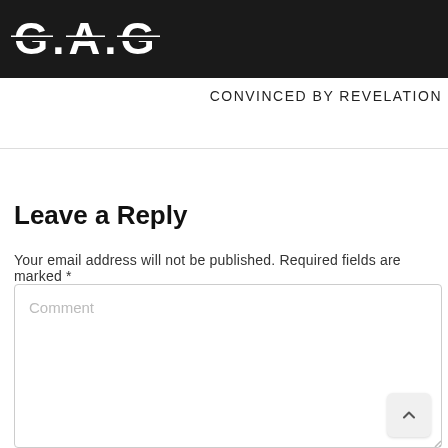G.A.G
CONVINCED BY REVELATION
Leave a Reply
Your email address will not be published. Required fields are marked *
Comment